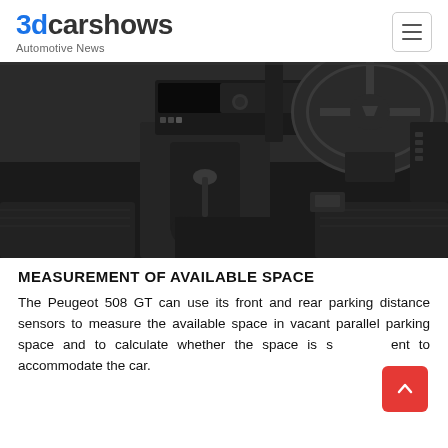3dcarshows Automotive News
[Figure (photo): Interior photo of a Peugeot 508 GT showing the center console with gear shift, infotainment system, steering wheel, and front seats from a forward-looking angle.]
MEASUREMENT OF AVAILABLE SPACE
The Peugeot 508 GT can use its front and rear parking distance sensors to measure the available space in vacant parallel parking space and to calculate whether the space is sufficient to accommodate the car.